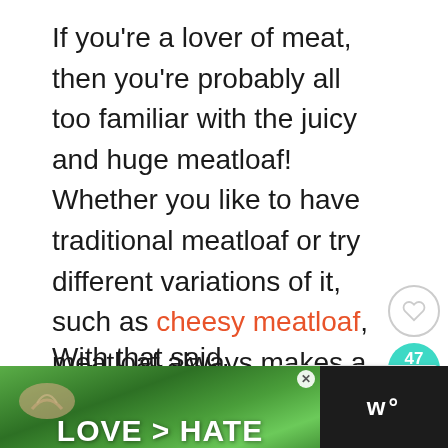If you're a lover of meat, then you're probably all too familiar with the juicy and huge meatloaf! Whether you like to have traditional meatloaf or try different variations of it, such as cheesy meatloaf, meatloaf always makes a hearty family meal.
With that said, thanks to its humongous size, it's also one of
[Figure (screenshot): Social interaction sidebar with heart/like button and share count of 47 in teal badge]
[Figure (screenshot): What's Next card showing 'How to Reheat Brisket in 4...' with food thumbnail]
[Figure (screenshot): Advertisement banner showing 'LOVE > HATE' text over green outdoor background with hands forming heart shape, and a dark right panel with logo]